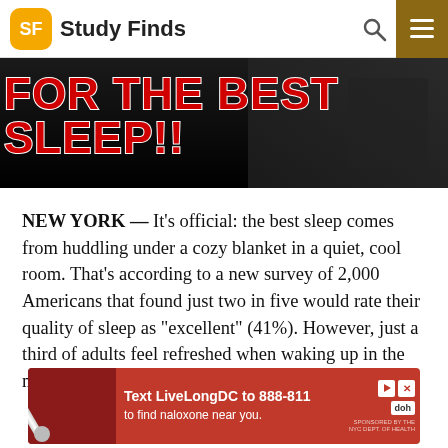Study Finds
[Figure (photo): Dark background with red bold text overlay reading 'FOR THE BEST SLEEP!!' in capital letters with white stroke]
NEW YORK — It's official: the best sleep comes from huddling under a cozy blanket in a quiet, cool room. That's according to a new survey of 2,000 Americans that found just two in five would rate their quality of sleep as “excellent” (41%). However, just a third of adults feel refreshed when waking up in the morning (30%).
[Figure (photo): Red advertisement banner: Text LiveLongDC to 888-811 to find naloxone near you. DOH logo visible.]